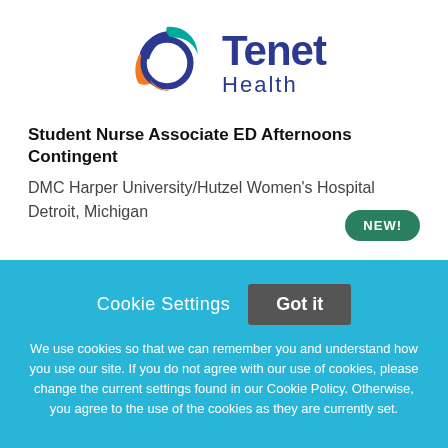[Figure (logo): Tenet Health logo with circular swoosh graphic in blue, teal, and orange, and the text 'Tenet Health' in dark blue]
Student Nurse Associate ED Afternoons Contingent
DMC Harper University/Hutzel Women's Hospital
Detroit, Michigan
NEW!
Cookie Settings
Got it
We use cookies so that we can remember you and understand how you use our site. If you do not agree with our use of cookies, please change the current settings found in our Cookie Policy. Otherwise, you agree to the use of the cookies as they are currently set.